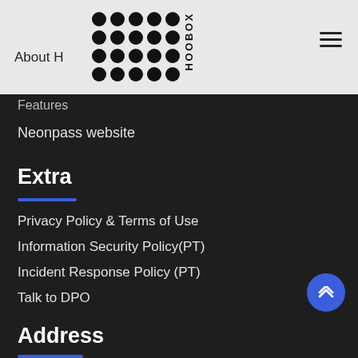About H... [HOOBOX logo] [hamburger menu]
Features
Neonpass website
Extra
Privacy Policy & Terms of Use
Information Security Policy(PT)
Incident Response Policy (PT)
Talk to DPO
Address
São Paulo